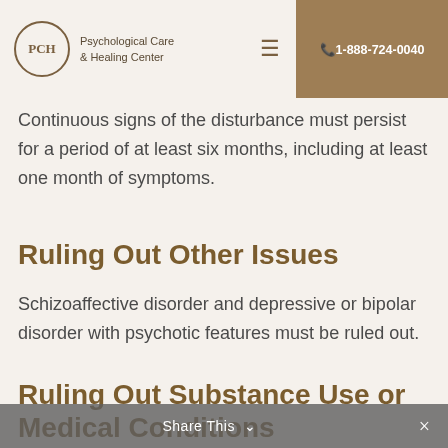PCH Psychological Care & Healing Center | 1-888-724-0040
Continuous signs of the disturbance must persist for a period of at least six months, including at least one month of symptoms.
Ruling Out Other Issues
Schizoaffective disorder and depressive or bipolar disorder with psychotic features must be ruled out.
Ruling Out Substance Use or Medical Conditions
Share This ∨  ×